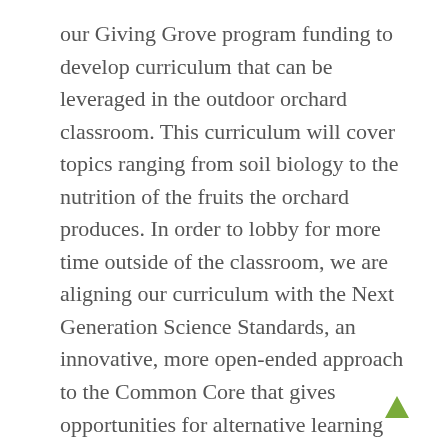our Giving Grove program funding to develop curriculum that can be leveraged in the outdoor orchard classroom. This curriculum will cover topics ranging from soil biology to the nutrition of the fruits the orchard produces. In order to lobby for more time outside of the classroom, we are aligning our curriculum with the Next Generation Science Standards, an innovative, more open-ended approach to the Common Core that gives opportunities for alternative learning methods. It is our hope that students can meet the standards laid out by the state as well as gain real life experience in caring for a local food system.